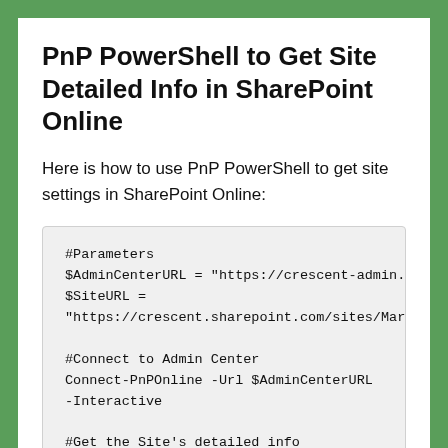PnP PowerShell to Get Site Detailed Info in SharePoint Online
Here is how to use PnP PowerShell to get site settings in SharePoint Online:
#Parameters
$AdminCenterURL = "https://crescent-admin.sharepoint.com"
$SiteURL =
"https://crescent.sharepoint.com/sites/Marketing"

#Connect to Admin Center
Connect-PnPOnline -Url $AdminCenterURL
-Interactive

#Get the Site's detailed info
Get-PnPTenantSite -Identity $SiteURL |